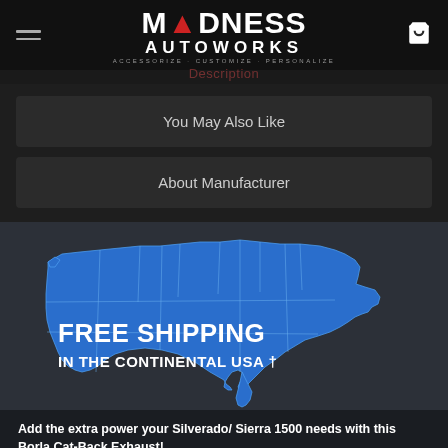MADNESS AUTOWORKS - ACCESSORIZE · CUSTOMIZE · PERSONALIZE
Description
You May Also Like
About Manufacturer
[Figure (infographic): Map of the continental USA in blue with text FREE SHIPPING IN THE CONTINENTAL USA overlaid in bold white letters]
Add the extra power your Silverado/ Sierra 1500 needs with this Borla Cat-Back Exhaust!